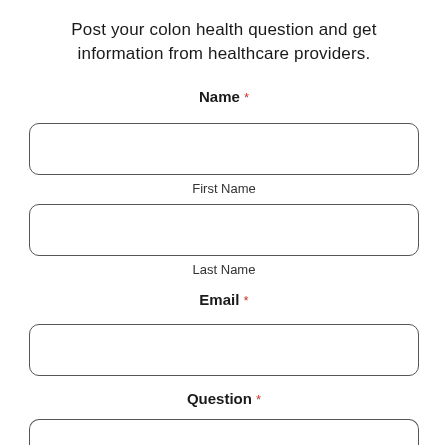Post your colon health question and get information from healthcare providers.
Name *
First Name
Last Name
Email *
Question *